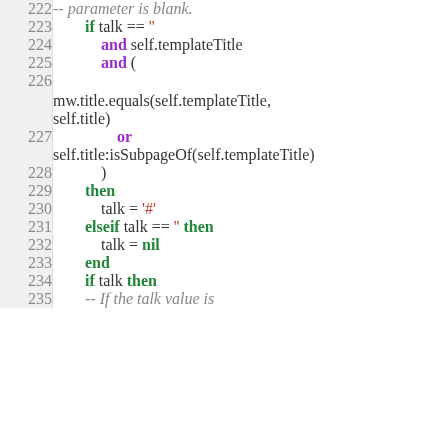Code block showing Lua/Scribunto script lines 222-235 with syntax highlighting